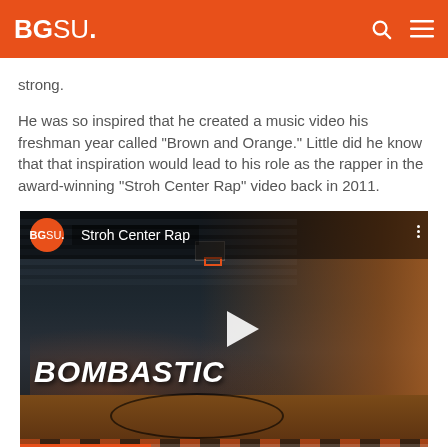BGSU.
strong.
He was so inspired that he created a music video his freshman year called "Brown and Orange." Little did he know that that inspiration would lead to his role as the rapper in the award-winning "Stroh Center Rap" video back in 2011.
[Figure (screenshot): Video thumbnail for 'Stroh Center Rap' showing a basketball player dribbling in an arena. The video has BGSU branding, title 'Stroh Center Rap', text 'BOMBASTIC' and a play button overlay.]